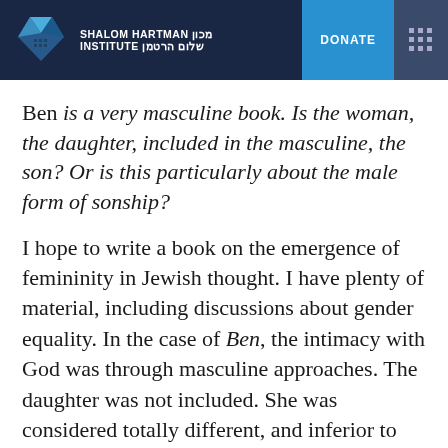SHALOM HARTMAN INSTITUTE | DONATE
Ben is a very masculine book. Is the woman, the daughter, included in the masculine, the son? Or is this particularly about the male form of sonship?
I hope to write a book on the emergence of femininity in Jewish thought. I have plenty of material, including discussions about gender equality. In the case of Ben, the intimacy with God was through masculine approaches. The daughter was not included. She was considered totally different, and inferior to